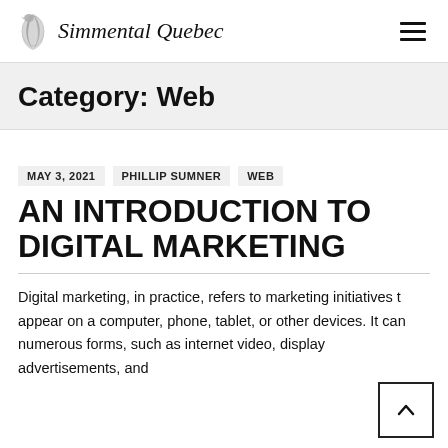Simmental Quebec
Category: Web
MAY 3, 2021   PHILLIP SUMNER   WEB
AN INTRODUCTION TO DIGITAL MARKETING
Digital marketing, in practice, refers to marketing initiatives that appear on a computer, phone, tablet, or other devices. It can take numerous forms, such as internet video, display advertisements, and